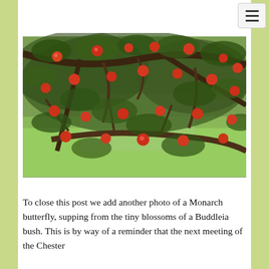[Figure (photo): Photograph of apple tree branches laden with red apples, with green grass and more trees visible in the background.]
To close this post we add another photo of a Monarch butterfly, supping from the tiny blossoms of a Buddleia bush. This is by way of a reminder that the next meeting of the Chester